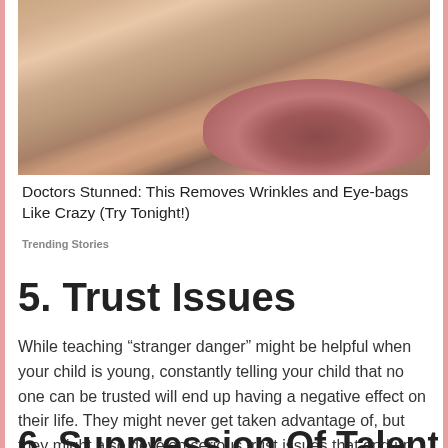[Figure (photo): Close-up photo of elderly person's wrinkled skin around the mouth area with visible lips]
Doctors Stunned: This Removes Wrinkles and Eye-bags Like Crazy (Try Tonight!)
Trending Stories
5. Trust Issues
While teaching “stranger danger” might be helpful when your child is young, constantly telling your child that no one can be trusted will end up having a negative effect on their life. They might never get taken advantage of, but they might also develop serious trust issues that end up seriously affecting their relationships.
6. Suppression Of Talents And